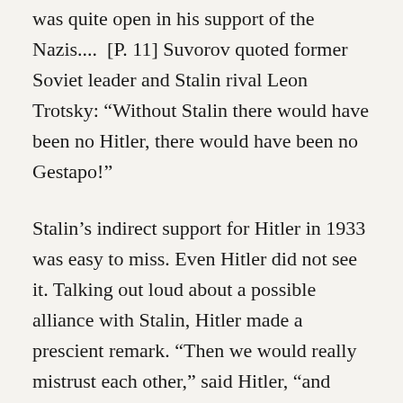was quite open in his support of the Nazis.... [P. 11] Suvorov quoted former Soviet leader and Stalin rival Leon Trotsky: “Without Stalin there would have been no Hitler, there would have been no Gestapo!”
Stalin’s indirect support for Hitler in 1933 was easy to miss. Even Hitler did not see it. Talking out loud about a possible alliance with Stalin, Hitler made a prescient remark. “Then we would really mistrust each other,” said Hitler, “and such a pact would inevitably end in a decisive battle. Only one of us can rule.…” According to Hitler, “The Russians [always] take over their partner, body and soul, that is the danger; one can either give oneself over to